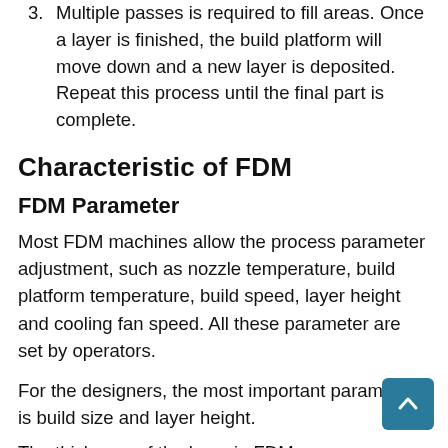3. Multiple passes is required to fill areas. Once a layer is finished, the build platform will move down and a new layer is deposited. Repeat this process until the final part is complete.
Characteristic of FDM
FDM Parameter
Most FDM machines allow the process parameter adjustment, such as nozzle temperature, build platform temperature, build speed, layer height and cooling fan speed. All these parameter are set by operators.
For the designers, the most important parameter is build size and layer height.
The thickness of the layer in FDM...